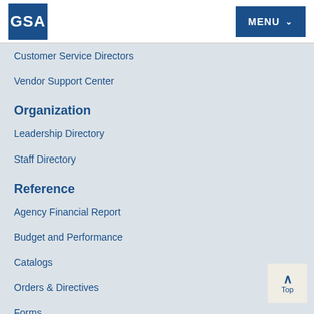GSA  MENU
Customer Service Directors
Vendor Support Center
Organization
Leadership Directory
Staff Directory
Reference
Agency Financial Report
Budget and Performance
Catalogs
Orders & Directives
Forms